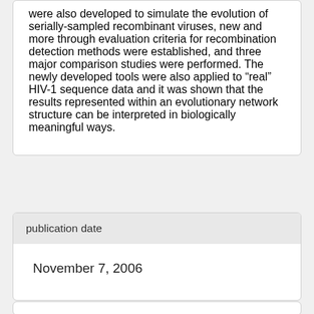were also developed to simulate the evolution of serially-sampled recombinant viruses, new and more through evaluation criteria for recombination detection methods were established, and three major comparison studies were performed. The newly developed tools were also applied to “real” HIV-1 sequence data and it was shown that the results represented within an evolutionary network structure can be interpreted in biologically meaningful ways.
| publication date |
| --- |
| November 7, 2006 |